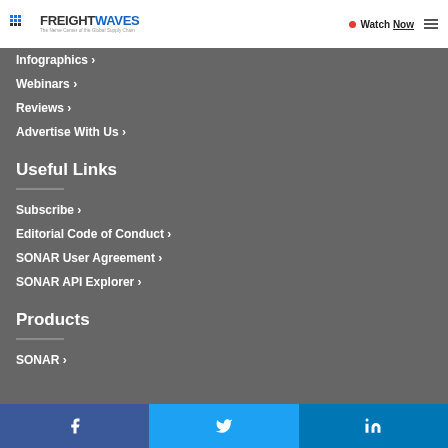FreightWaves — The Nerve Center of the Global Supply Chain | Watch Now
Infographics ›
Webinars ›
Reviews ›
Advertise With Us ›
Useful Links
Subscribe ›
Editorial Code of Conduct ›
SONAR User Agreement ›
SONAR API Explorer ›
Products
SONAR ›
Facebook | Twitter | LinkedIn